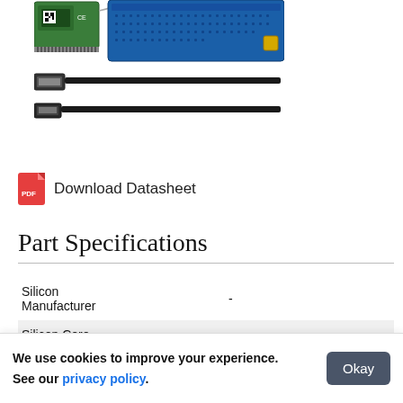[Figure (photo): Photo of electronic development kit components: a small green wireless module PCB, a blue Arduino-style development board, and two USB cables (standard USB-A and mini/micro USB).]
Download Datasheet
Part Specifications
|  |  |
| --- | --- |
| Silicon Manufacturer | - |
| Silicon Core Number | - |
| Kit Application |  |
We use cookies to improve your experience. See our privacy policy.